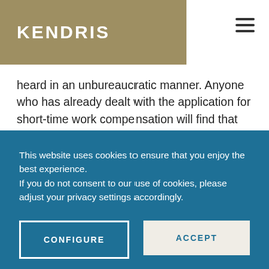KENDRIS
heard in an unbureaucratic manner. Anyone who has already dealt with the application for short-time work compensation will find that various documents must nevertheless be submitted. In order to provide quick and uncomplicated support to employers who run into difficulties because of the new coronavirus, SECO has simplified the administrative work involved in notifying short-time work in connection with the coronavirus. On the SECO website, you will find the pre-notification and
This website uses cookies to ensure that you enjoy the best experience.
If you do not consent to our use of cookies, please adjust your privacy settings accordingly.
CONFIGURE
ACCEPT